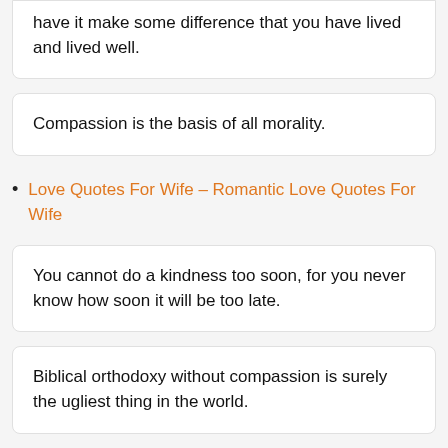have it make some difference that you have lived and lived well.
Compassion is the basis of all morality.
Love Quotes For Wife – Romantic Love Quotes For Wife
You cannot do a kindness too soon, for you never know how soon it will be too late.
Biblical orthodoxy without compassion is surely the ugliest thing in the world.